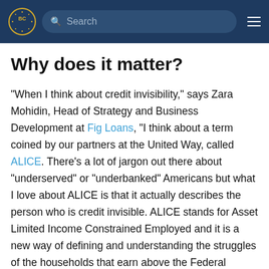BC [logo] Search [hamburger menu]
Why does it matter?
"When I think about credit invisibility," says Zara Mohidin, Head of Strategy and Business Development at Fig Loans, "I think about a term coined by our partners at the United Way, called ALICE. There's a lot of jargon out there about "underserved" or "underbanked" Americans but what I love about ALICE is that it actually describes the person who is credit invisible. ALICE stands for Asset Limited Income Constrained Employed and it is a new way of defining and understanding the struggles of the households that earn above the Federal Poverty Level but don't have access to mainstream sources of financing. ALICE is your child's teacher, your parent's caretaker, your office clerk, and your